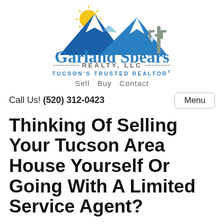[Figure (logo): Garland Spears Realty LLC logo with blue mountain peaks, yellow sun, and saguaro cactus silhouette]
Garland Spears
— REALTY, LLC —
TUCSON'S TRUSTED REALTOR®
Sell  Buy  Contact
Call Us! (520) 312-0423
Menu
Thinking Of Selling Your Tucson Area House Yourself Or Going With A Limited Service Agent?